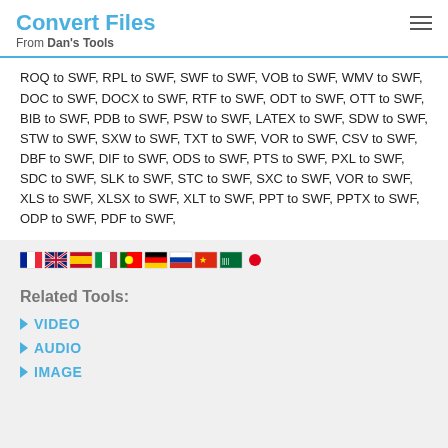Convert Files
From Dan's Tools
ROQ to SWF, RPL to SWF, SWF to SWF, VOB to SWF, WMV to SWF, DOC to SWF, DOCX to SWF, RTF to SWF, ODT to SWF, OTT to SWF, BIB to SWF, PDB to SWF, PSW to SWF, LATEX to SWF, SDW to SWF, STW to SWF, SXW to SWF, TXT to SWF, VOR to SWF, CSV to SWF, DBF to SWF, DIF to SWF, ODS to SWF, PTS to SWF, PXL to SWF, SDC to SWF, SLK to SWF, STC to SWF, SXC to SWF, VOR to SWF, XLS to SWF, XLSX to SWF, XLT to SWF, PPT to SWF, PPTX to SWF, ODP to SWF, PDF to SWF,
[Figure (other): Row of country flag icons followed by a red circle dot]
Related Tools:
VIDEO
AUDIO
IMAGE